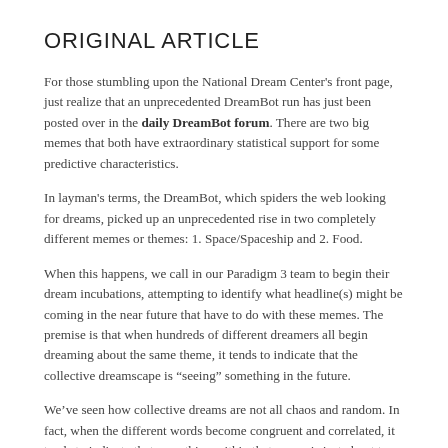ORIGINAL ARTICLE
For those stumbling upon the National Dream Center's front page, just realize that an unprecedented DreamBot run has just been posted over in the daily DreamBot forum. There are two big memes that both have extraordinary statistical support for some predictive characteristics.
In layman's terms, the DreamBot, which spiders the web looking for dreams, picked up an unprecedented rise in two completely different memes or themes: 1. Space/Spaceship and 2. Food.
When this happens, we call in our Paradigm 3 team to begin their dream incubations, attempting to identify what headline(s) might be coming in the near future that have to do with these memes. The premise is that when hundreds of different dreamers all begin dreaming about the same theme, it tends to indicate that the collective dreamscape is “seeing” something in the future.
We’ve seen how collective dreams are not all chaos and random. In fact, when the different words become congruent and correlated, it tends to indicate that something within that meme is just about to manifest in our physical reality. But linguistics only carry us so far. Our